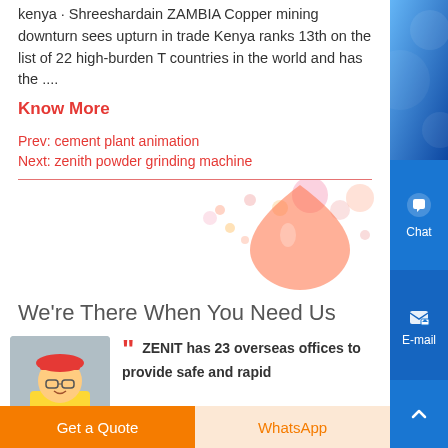kenya · Shreeshardain ZAMBIA Copper mining downturn sees upturn in trade Kenya ranks 13th on the list of 22 high-burden T countries in the world and has the ....
Know More
Prev: cement plant animation
Next: zenith powder grinding machine
[Figure (illustration): Decorative water droplet / bubble illustration in orange and pink tones]
We're There When You Need Us
[Figure (photo): Photo of a person wearing a hard hat and yellow vest]
ZENIT has 23 overseas offices to provide safe and rapid
Get a Quote
WhatsApp